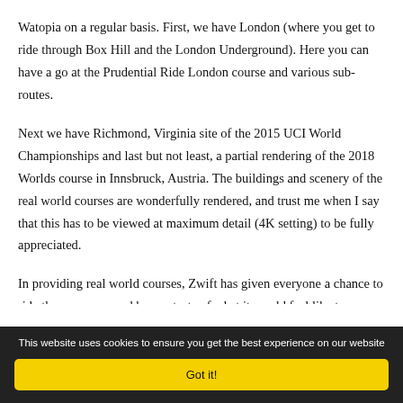Watopia on a regular basis. First, we have London (where you get to ride through Box Hill and the London Underground). Here you can have a go at the Prudential Ride London course and various sub-routes.
Next we have Richmond, Virginia site of the 2015 UCI World Championships and last but not least, a partial rendering of the 2018 Worlds course in Innsbruck, Austria. The buildings and scenery of the real world courses are wonderfully rendered, and trust me when I say that this has to be viewed at maximum detail (4K setting) to be fully appreciated.
In providing real world courses, Zwift has given everyone a chance to ride these courses and have a taste of what it would feel like to actually be there. Professional cyclists pop up from time to time to
This website uses cookies to ensure you get the best experience on our website